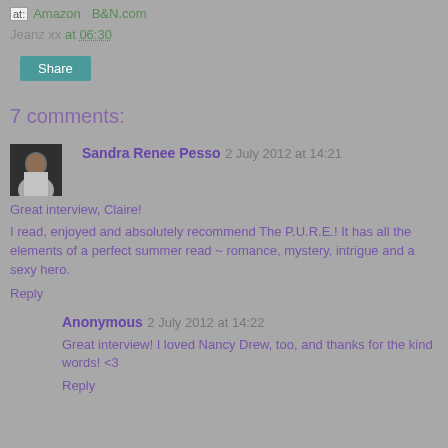at: Amazon  B&N.com
Jeanz xx at 06:30
Share
7 comments:
Sandra Renee Pesso  2 July 2012 at 14:21
Great interview, Claire!
I read, enjoyed and absolutely recommend The P.U.R.E.! It has all the elements of a perfect summer read ~ romance, mystery, intrigue and a sexy hero.
Reply
Anonymous  2 July 2012 at 14:22
Great interview! I loved Nancy Drew, too, and thanks for the kind words! <3
Reply